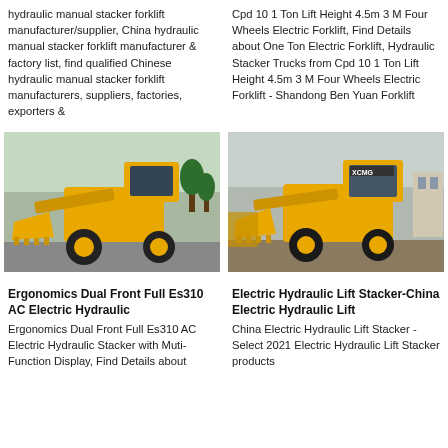hydraulic manual stacker forklift manufacturer/supplier, China hydraulic manual stacker forklift manufacturer & factory list, find qualified Chinese hydraulic manual stacker forklift manufacturers, suppliers, factories, exporters &
Cpd 10 1 Ton Lift Height 4.5m 3 M Four Wheels Electric Forklift, Find Details about One Ton Electric Forklift, Hydraulic Stacker Trucks from Cpd 10 1 Ton Lift Height 4.5m 3 M Four Wheels Electric Forklift - Shandong Ben Yuan Forklift
[Figure (photo): Yellow wheel loader / front loader construction machine parked on pavement outdoors with trees in background]
[Figure (photo): Yellow wheel loader / front loader construction machine (XCMG branded) parked outdoors with industrial buildings in background]
Ergonomics Dual Front Full Es310 AC Electric Hydraulic
Electric Hydraulic Lift Stacker-China Electric Hydraulic Lift
Ergonomics Dual Front Full Es310 AC Electric Hydraulic Stacker with Muti-Function Display, Find Details about
China Electric Hydraulic Lift Stacker - Select 2021 Electric Hydraulic Lift Stacker products